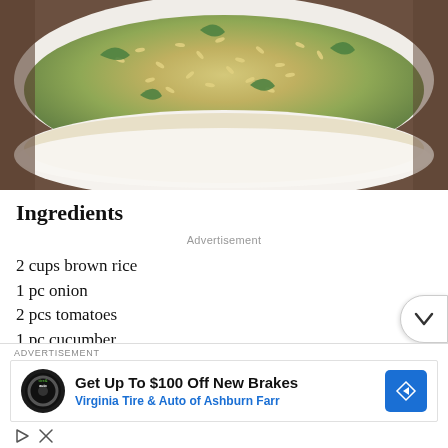[Figure (photo): Close-up photo of a bowl filled with brown rice salad with vegetables including greens, tomatoes, and cucumber, served in a white bowl]
Ingredients
Advertisement
2 cups brown rice
1 pc onion
2 pcs tomatoes
1 pc cucumber
3 tbsp olive oil
ADVERTISEMENT
[Figure (screenshot): Advertisement banner: Get Up To $100 Off New Brakes - Virginia Tire & Auto of Ashburn Farr, with Tire & Auto logo and navigation arrow icon]